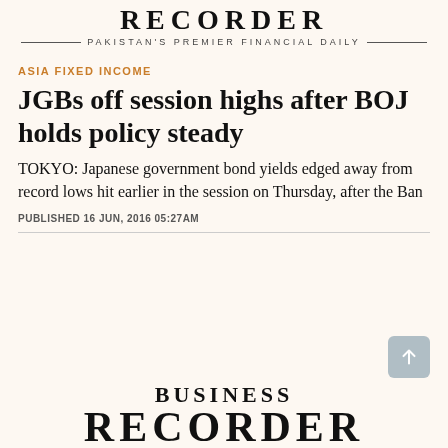RECORDER — PAKISTAN'S PREMIER FINANCIAL DAILY —
ASIA FIXED INCOME
JGBs off session highs after BOJ holds policy steady
TOKYO: Japanese government bond yields edged away from record lows hit earlier in the session on Thursday, after the Ban
PUBLISHED 16 JUN, 2016 05:27AM
BUSINESS RECORDER